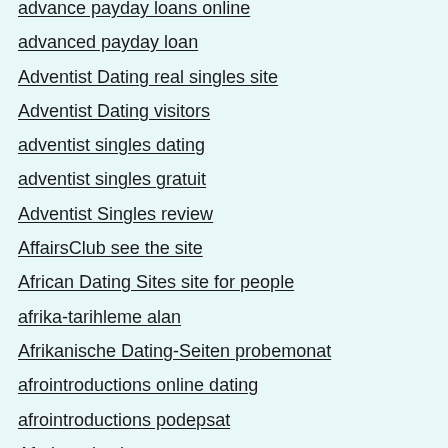advance payday loans online
advanced payday loan
Adventist Dating real singles site
Adventist Dating visitors
adventist singles dating
adventist singles gratuit
Adventist Singles review
AffairsClub see the site
African Dating Sites site for people
afrika-tarihleme alan
Afrikanische Dating-Seiten probemonat
afrointroductions online dating
afrointroductions podepsat
Afrointroductions pure